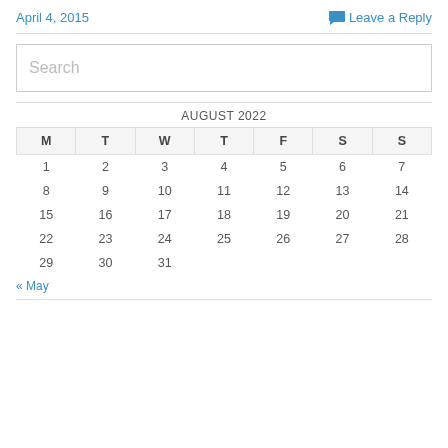April 4, 2015
Leave a Reply
Search
| M | T | W | T | F | S | S |
| --- | --- | --- | --- | --- | --- | --- |
| 1 | 2 | 3 | 4 | 5 | 6 | 7 |
| 8 | 9 | 10 | 11 | 12 | 13 | 14 |
| 15 | 16 | 17 | 18 | 19 | 20 | 21 |
| 22 | 23 | 24 | 25 | 26 | 27 | 28 |
| 29 | 30 | 31 |  |  |  |  |
« May